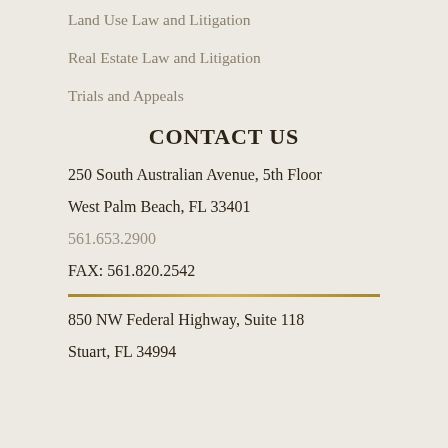Land Use Law and Litigation
Real Estate Law and Litigation
Trials and Appeals
CONTACT US
250 South Australian Avenue, 5th Floor
West Palm Beach, FL 33401
561.653.2900
FAX: 561.820.2542
850 NW Federal Highway, Suite 118
Stuart, FL 34994